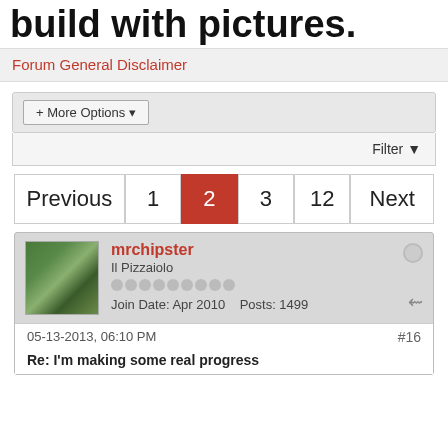build with pictures.
Forum General Disclaimer
+ More Options ▾
Filter ▾
Previous  1  2  3  12  Next
mrchipster
Il Pizzaiolo
Join Date: Apr 2010   Posts: 1499
05-13-2013, 06:10 PM   #16
Re: I'm making some real progress